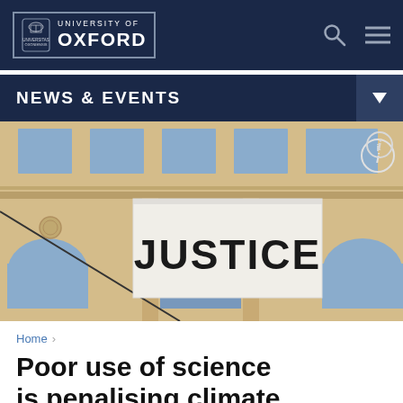University of Oxford
NEWS & EVENTS
[Figure (photo): A white banner with the word JUSTICE written in large black letters, hung on the facade of a classical European building with arched windows and ornate stonework.]
Home
Poor use of science is penalising climate change victims